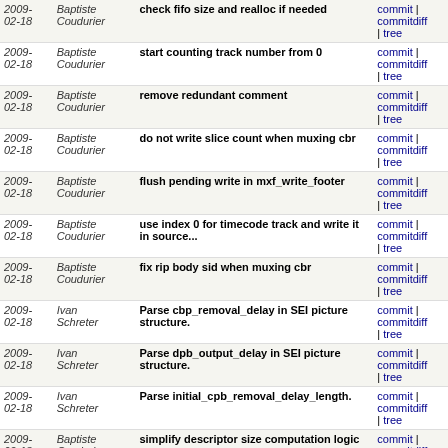| Date | Author | Message | Links |
| --- | --- | --- | --- |
| 2009-02-18 | Baptiste Coudurier | check fifo size and realloc if needed | commit | commitdiff | tree |
| 2009-02-18 | Baptiste Coudurier | start counting track number from 0 | commit | commitdiff | tree |
| 2009-02-18 | Baptiste Coudurier | remove redundant comment | commit | commitdiff | tree |
| 2009-02-18 | Baptiste Coudurier | do not write slice count when muxing cbr | commit | commitdiff | tree |
| 2009-02-18 | Baptiste Coudurier | flush pending write in mxf_write_footer | commit | commitdiff | tree |
| 2009-02-18 | Baptiste Coudurier | use index 0 for timecode track and write it in source... | commit | commitdiff | tree |
| 2009-02-18 | Baptiste Coudurier | fix rip body sid when muxing cbr | commit | commitdiff | tree |
| 2009-02-18 | Ivan Schreter | Parse cbp_removal_delay in SEI picture structure. | commit | commitdiff | tree |
| 2009-02-18 | Ivan Schreter | Parse dpb_output_delay in SEI picture structure. | commit | commitdiff | tree |
| 2009-02-18 | Ivan Schreter | Parse initial_cpb_removal_delay_length. | commit | commitdiff | tree |
| 2009-02-18 | Baptiste Coudurier | simplify descriptor size computation logic | commit | commitdiff | tree |
| 2009-02-18 | Diego Biurrun | Handle conditional compilation of CPU-specific FFT... | commit | commitdiff | tree |
| 2009-02-18 | Diego Biurrun | Add support for enabling/disabling AMD 3DNow! extended... | commit | commitdiff | tree |